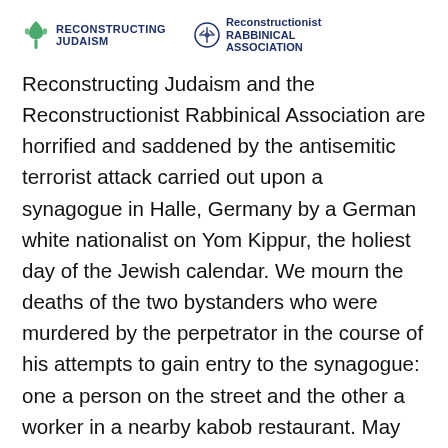[Figure (logo): Reconstructing Judaism logo with green leaf emblem and bold navy text reading JUDAISM, alongside Reconstructionist Rabbinical Association logo with snowflake-style emblem and navy text]
Reconstructing Judaism and the Reconstructionist Rabbinical Association are horrified and saddened by the antisemitic terrorist attack carried out upon a synagogue in Halle, Germany by a German white nationalist on Yom Kippur, the holiest day of the Jewish calendar. We mourn the deaths of the two bystanders who were murdered by the perpetrator in the course of his attempts to gain entry to the synagogue: one a person on the street and the other a worker in a nearby kabob restaurant. May their loved ones receive comfort and solidarity as they grieve these senseless murders, and may the memories of those who lost their lives always be a blessing. We are grateful that all those who were attending Yom Kippur services inside the synagogue survived the attack, though suffered...